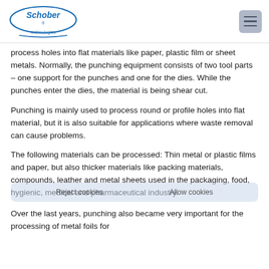Schober Technologies logo and navigation menu
process holes into flat materials like paper, plastic film or sheet metals. Normally, the punching equipment consists of two tool parts – one support for the punches and one for the dies. While the punches enter the dies, the material is being shear cut.
Punching is mainly used to process round or profile holes into flat material, but it is also suitable for applications where waste removal can cause problems.
The following materials can be processed: Thin metal or plastic films and paper, but also thicker materials like packing materials, compounds, leather and metal sheets used in the packaging, food, hygienic, medical and pharmaceutical industry.
Over the last years, punching also became very important for the processing of metal foils for